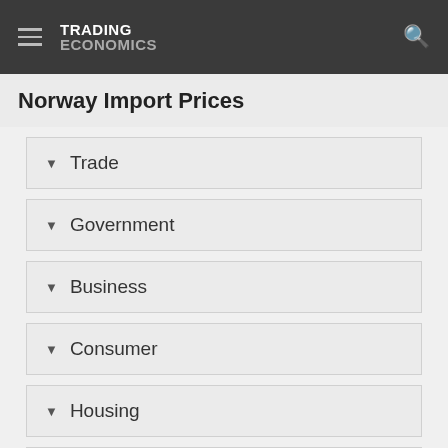TRADING ECONOMICS
Norway Import Prices
Trade
Government
Business
Consumer
Housing
Taxes
Climate